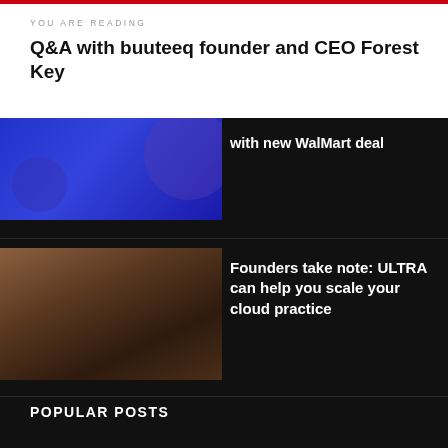YOU ARE READING
Q&A with buuteeq founder and CEO Forest Key
with new WalMart deal
Founders take note: ULTRA can help you scale your cloud practice
POPULAR POSTS
Connect: Europe Winner ProsFit—A Startup That Innovates For An Important Social Cause
© Copyright Startupbeat 2019